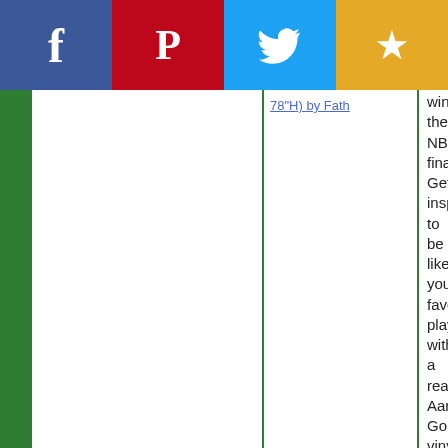[Figure (screenshot): Social sharing bar with four buttons: Facebook (blue), Pinterest (red), Twitter (light blue), and Favorites/star (gold)]
78"H) by Fath
win the NBA finals? Get inspired to be like your favorite player with a realistic Aaron Gordon vinyl wall decal. You'll feel like you're speeding down the court with your h... - Aaron Gordon for Orlando Magic - Officially Licensed NBA Removable Wall Decal like Si...